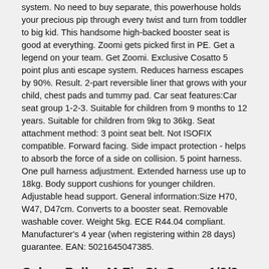system. No need to buy separate, this powerhouse holds your precious pip through every twist and turn from toddler to big kid. This handsome high-backed booster seat is good at everything. Zoomi gets picked first in PE. Get a legend on your team. Get Zoomi. Exclusive Cosatto 5 point plus anti escape system. Reduces harness escapes by 90%. Result. 2-part reversible liner that grows with your child, chest pads and tummy pad. Car seat features:Car seat group 1-2-3. Suitable for children from 9 months to 12 years. Suitable for children from 9kg to 36kg. Seat attachment method: 3 point seat belt. Not ISOFIX compatible. Forward facing. Side impact protection - helps to absorb the force of a side on collision. 5 point harness. One pull harness adjustment. Extended harness use up to 18kg. Body support cushions for younger children. Adjustable head support. General information:Size H70, W47, D47cm. Converts to a booster seat. Removable washable cover. Weight 5kg. ECE R44.04 compliant. Manufacturer's 4 year (when registering within 28 days) guarantee. EAN: 5021645047385.
Cybex Pallas M-Fix SL Group 1/2/3 Car Seat - Pure Black 2019
The Pallas M-Fix SL stands out through its range of innovative safety and comfort functions such as the Linear Side-impact Protection system (L. S. P. System) the 12 position height-adjustable headrest